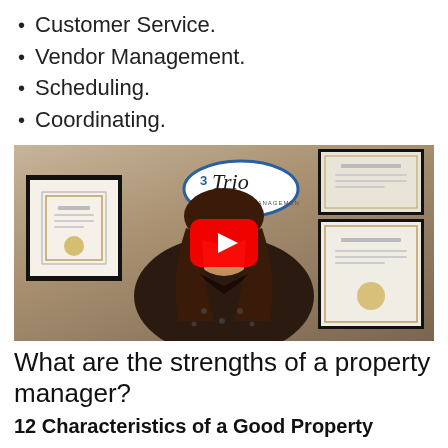Customer Service.
Vendor Management.
Scheduling.
Coordinating.
[Figure (screenshot): YouTube video thumbnail showing a woman in a dark patterned top seated in front of a wall with the 3Trio Property Management logo oval and framed certificates. A red YouTube play button overlay is in the center.]
What are the strengths of a property manager?
12 Characteristics of a Good Property